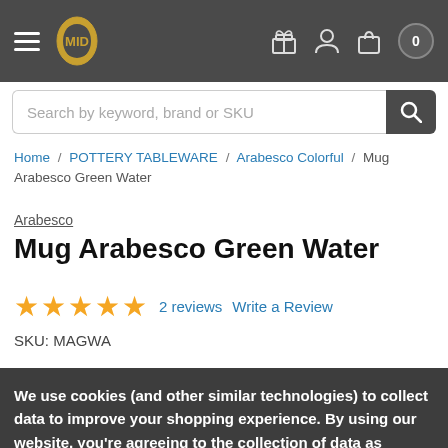Header navigation bar with hamburger menu, logo, gift icon, user icon, bag icon, cart badge showing 0
Search by keyword, brand or SKU
Home / POTTERY TABLEWARE / Arabesco Colorful / Mug Arabesco Green Water
Arabesco
Mug Arabesco Green Water
★★★★★ 2 reviews   Write a Review
SKU: MAGWA
We use cookies (and other similar technologies) to collect data to improve your shopping experience. By using our website, you're agreeing to the collection of data as described in our Privacy Policy.
Settings   Reject all   Accept All Cookies